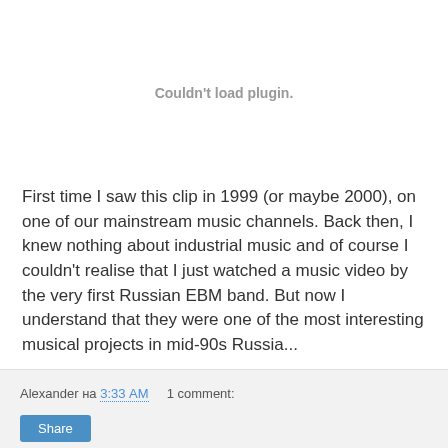[Figure (other): Couldn't load plugin. message in gray text centered in a plugin placeholder area]
First time I saw this clip in 1999 (or maybe 2000), on one of our mainstream music channels. Back then, I knew nothing about industrial music and of course I couldn't realise that I just watched a music video by the very first Russian EBM band. But now I understand that they were one of the most interesting musical projects in mid-90s Russia...
Alexander на 3:33 AM   1 comment: